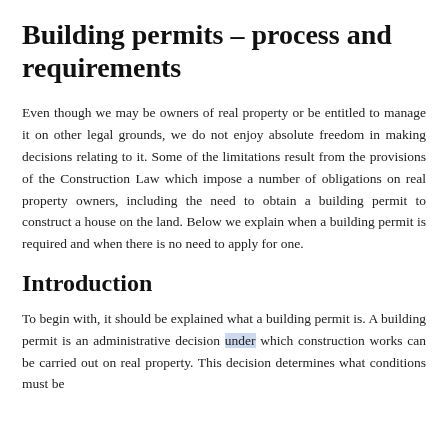Building permits – process and requirements
Even though we may be owners of real property or be entitled to manage it on other legal grounds, we do not enjoy absolute freedom in making decisions relating to it. Some of the limitations result from the provisions of the Construction Law which impose a number of obligations on real property owners, including the need to obtain a building permit to construct a house on the land. Below we explain when a building permit is required and when there is no need to apply for one.
Introduction
To begin with, it should be explained what a building permit is. A building permit is an administrative decision under which construction works can be carried out on real property. This decision determines what conditions must be